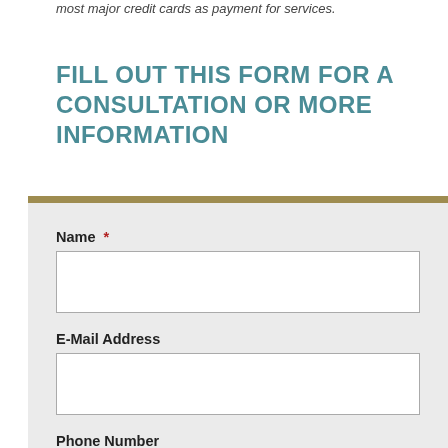most major credit cards as payment for services.
FILL OUT THIS FORM FOR A CONSULTATION OR MORE INFORMATION
Name *
E-Mail Address
Phone Number